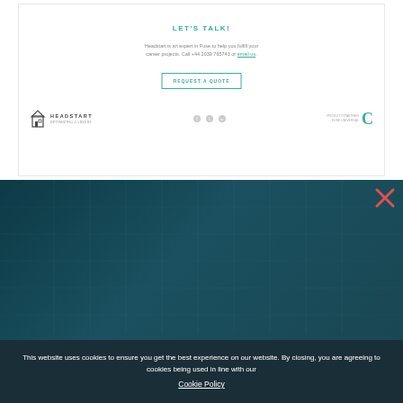LET'S TALK!
Headstart is an expert in Fuse to help you fulfill your career projects. Call +44 2039 765743 or email us.
REQUEST A QUOTE
[Figure (logo): Headstart logo with building icon and tagline text]
[Figure (illustration): Social media icons: Facebook, Twitter, LinkedIn]
[Figure (logo): Partner/certification logo with stylized C icon]
[Figure (photo): Dark teal background section with grid/code lines overlay, close X button in top right corner]
This website uses cookies to ensure you get the best experience on our website. By closing, you are agreeing to cookies being used in line with our
Cookie Policy